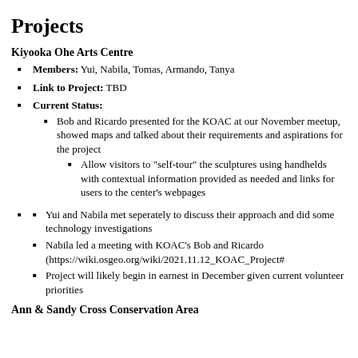Projects
Kiyooka Ohe Arts Centre
Members: Yui, Nabila, Tomas, Armando, Tanya
Link to Project: TBD
Current Status:
Bob and Ricardo presented for the KOAC at our November meetup, showed maps and talked about their requirements and aspirations for the project
Allow visitors to "self-tour" the sculptures using handhelds with contextual information provided as needed and links for users to the center's webpages
Yui and Nabila met seperately to discuss their approach and did some technology investigations
Nabila led a meeting with KOAC's Bob and Ricardo (https://wiki.osgeo.org/wiki/2021.11.12_KOAC_Project#
Project will likely begin in earnest in December given current volunteer priorities
Ann & Sandy Cross Conservation Area